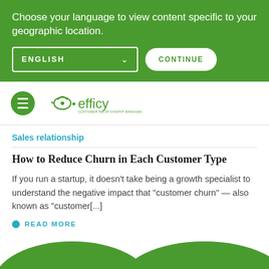Choose your language to view content specific to your geographic location.
ENGLISH
CONTINUE
[Figure (logo): Efficy CRM logo with stylized icon and text 'efficy']
Sales relationship
How to Reduce Churn in Each Customer Type
If you run a startup, it doesn’t take being a growth specialist to understand the negative impact that “customer churn” — also known as “customer[...]
READ MORE
[Figure (illustration): Green decorative hills/waves at the bottom of the page]